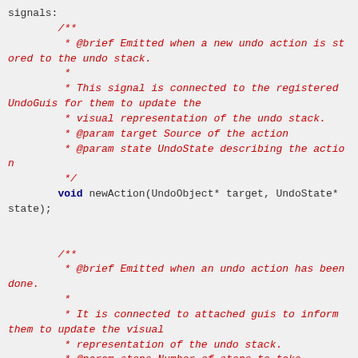signals:
        /**
         * @brief Emitted when a new undo action is stored to the undo stack.
         *
         * This signal is connected to the registered UndoGuis for them to update the
         * visual representation of the undo stack.
         * @param target Source of the action
         * @param state UndoState describing the action
         */
        void newAction(UndoObject* target, UndoState* state);


        /**
         * @brief Emitted when an undo action has been done.
         *
         * It is connected to attached guis to inform them to update the visual
         * representation of the undo stack.
         * @param steps Number of steps to take
         */
        void undoSignal(int steps);